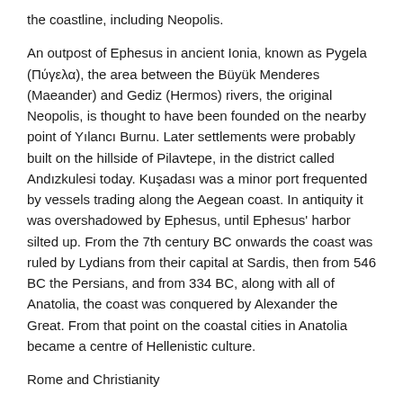the coastline, including Neopolis.
An outpost of Ephesus in ancient Ionia, known as Pygela (Πύγελα), the area between the Büyük Menderes (Maeander) and Gediz (Hermos) rivers, the original Neopolis, is thought to have been founded on the nearby point of Yılancı Burnu. Later settlements were probably built on the hillside of Pilavtepe, in the district called Andızkulesi today. Kuşadası was a minor port frequented by vessels trading along the Aegean coast. In antiquity it was overshadowed by Ephesus, until Ephesus' harbor silted up. From the 7th century BC onwards the coast was ruled by Lydians from their capital at Sardis, then from 546 BC the Persians, and from 334 BC, along with all of Anatolia, the coast was conquered by Alexander the Great. From that point on the coastal cities in Anatolia became a centre of Hellenistic culture.
Rome and Christianity
The Roman Empire took possession of the coast in the 2nd century BC and made it their provincial capital in the early years of Christianity. Saint John the Evangelist and (according to Roman Catholic sacred tradition) the Virgin Mary both came to live in the area, which in the Christian era became known as "Ania". As Byzantine, Venetian and Genoese shippers began to trade along the